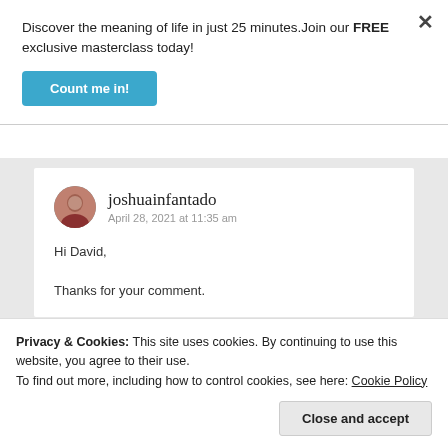Discover the meaning of life in just 25 minutes.Join our FREE exclusive masterclass today!
Count me in!
joshuainfantado
April 28, 2021 at 11:35 am
Hi David,
Thanks for your comment.
Privacy & Cookies: This site uses cookies. By continuing to use this website, you agree to their use.
To find out more, including how to control cookies, see here: Cookie Policy
Close and accept